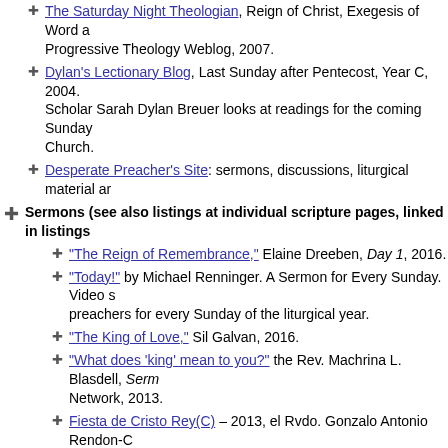The Saturday Night Theologian, Reign of Christ, Exegesis of Word and Progressive Theology Weblog, 2007.
Dylan's Lectionary Blog, Last Sunday after Pentecost, Year C, 2004. Scholar Sarah Dylan Breuer looks at readings for the coming Sunday Church.
Desperate Preacher's Site: sermons, discussions, liturgical material ar
Sermons (see also listings at individual scripture pages, linked in listings
"The Reign of Remembrance," Elaine Dreeben, Day 1, 2016.
"Today!" by Michael Renninger. A Sermon for Every Sunday. Video s preachers for every Sunday of the liturgical year.
"The King of Love," Sil Galvan, 2016.
"What does 'king' mean to you?" the Rev. Machrina L. Blasdell, Serm Network, 2013.
Fiesta de Cristo Rey(C) – 2013, el Rvdo. Gonzalo Antonio Rendon-C
"Be Still," sermon discussion from Frederick Buechner, Frederick Bu
Ministry Matters, 2016.
Göttinger Predigten im Internet: Every Sunday Sermons based on the theologians/ pastors, 2016.
"Image of the Invisible," the Rev. Dr. Fred R. Anderson, Day 1, 2007
Christ the King Sermons, Pastor Edward F. Markquart, Grace Luthera
Feast of Christ the King, Andrew M. Greeley, "author, priest, sociolo
Father Andrew M. Greeley, "Priest, Author, Sociologist," Commentar
Group Studies & Discussion/Reflection Questions:
"Seeking Unity," Faith Element, 2013.
"God's Path of Peace," Weekly Seeds, UCC, 2016.
Bible Study, Christ the King, 2013, Joseph Farnes, Seminary of the S